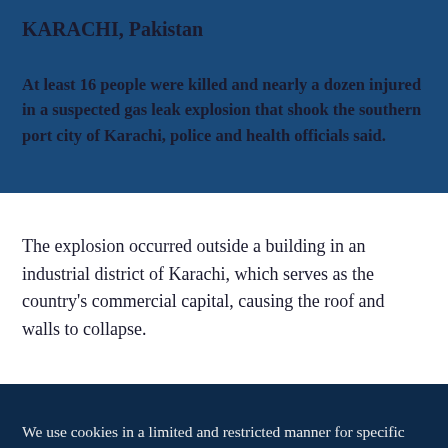KARACHI, Pakistan
At least 16 people were killed and nearly a dozen injured in a suspected gas leak explosion that shook the southern port city of Karachi, police and health officials said.
The explosion occurred outside a building in an industrial district of Karachi, which serves as the country's commercial capital, causing the roof and walls to collapse.
We use cookies in a limited and restricted manner for specific purposes. For more details, you can see "our data policy".
Accept | Reject | Manage Cookies